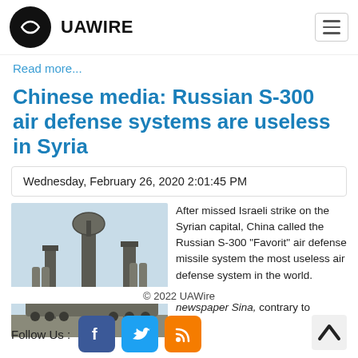UAWIRE
Read more...
Chinese media: Russian S-300 air defense systems are useless in Syria
Wednesday, February 26, 2020 2:01:45 PM
[Figure (photo): Photo of Russian S-300 air defense missile system launchers against a light blue sky]
After missed Israeli strike on the Syrian capital, China called the Russian S-300 "Favorit" air defense missile system the most useless air defense system in the world. According to the Chinese newspaper Sina, contrary to
© 2022 UAWire
Follow Us :